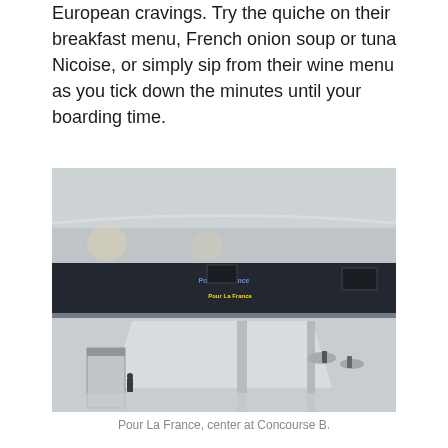European cravings. Try the quiche on their breakfast menu, French onion soup or tuna Nicoise, or simply sip from their wine menu as you tick down the minutes until your boarding time.
[Figure (photo): Interior view of an airport concourse (Concourse B) showing Pour La France restaurant at center, with diners seated at tables, airport pillars, an information kiosk, and a light-filled lower level walkway visible.]
Pour La France, center at Concourse B.